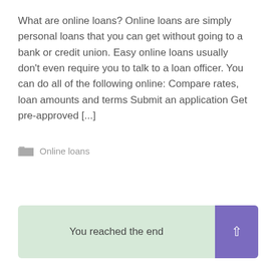What are online loans? Online loans are simply personal loans that you can get without going to a bank or credit union. Easy online loans usually don't even require you to talk to a loan officer. You can do all of the following online: Compare rates, loan amounts and terms Submit an application Get pre-approved [...]
Online loans
Read More
You reached the end